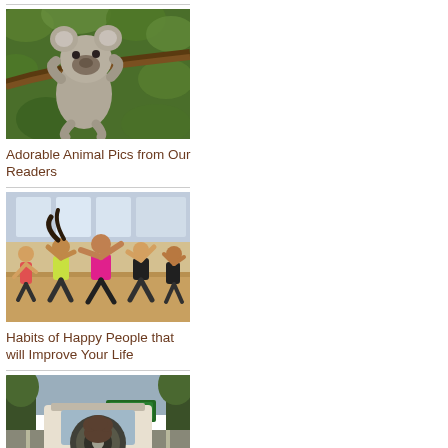[Figure (photo): A koala clinging to a tree branch among green leaves]
Adorable Animal Pics from Our Readers
[Figure (photo): Group of people dancing in a studio with bright colours, wooden floor]
Habits of Happy People that will Improve Your Life
[Figure (photo): View from behind a jeep on a highway with a large animal attached to the spare tire]